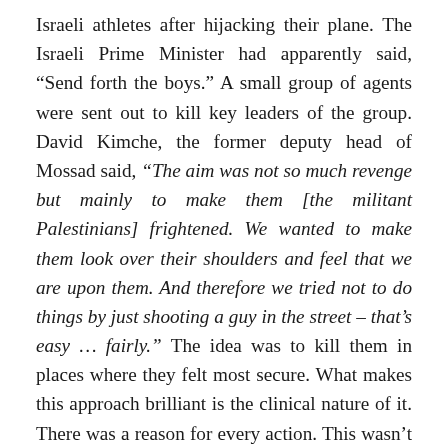Israeli athletes after hijacking their plane. The Israeli Prime Minister had apparently said, “Send forth the boys.” A small group of agents were sent out to kill key leaders of the group. David Kimche, the former deputy head of Mossad said, “The aim was not so much revenge but mainly to make them [the militant Palestinians] frightened. We wanted to make them look over their shoulders and feel that we are upon them. And therefore we tried not to do things by just shooting a guy in the street – that’s easy … fairly.” The idea was to kill them in places where they felt most secure. What makes this approach brilliant is the clinical nature of it. There was a reason for every action. This wasn’t murder motivated by revenge or an animal desire for blood, but a surgical move based on cause and effect. They wanted to kill certain people, important people, the absence of whom would set a